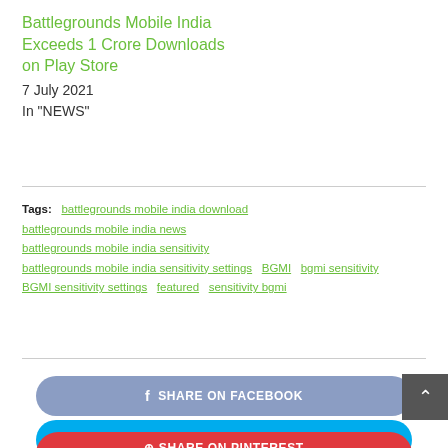Battlegrounds Mobile India Exceeds 1 Crore Downloads on Play Store
7 July 2021
In "NEWS"
Tags: battlegrounds mobile india download battlegrounds mobile india news battlegrounds mobile india sensitivity battlegrounds mobile india sensitivity settings BGMI bgmi sensitivity BGMI sensitivity settings featured sensitivity bgmi
SHARE ON FACEBOOK
SHARE ON TWITTER
SHARE ON PINTEREST